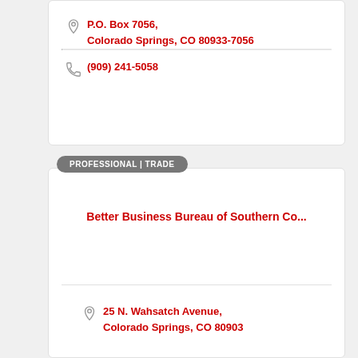P.O. Box 7056, Colorado Springs, CO 80933-7056
(909) 241-5058
PROFESSIONAL | TRADE
Better Business Bureau of Southern Co...
25 N. Wahsatch Avenue, Colorado Springs, CO 80903